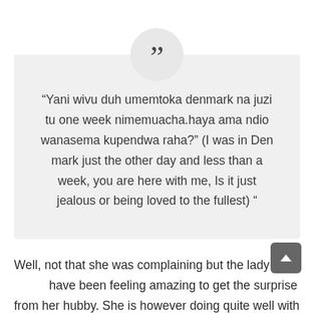“Yani wivu duh umemtoka denmark na juzi tu one week nimemuacha.haya ama ndio wanasema kupendwa raha?” (I was in Den mark just the other day and less than a week, you are here with me, Is it just jealous or being loved to the fullest) “
Well, not that she was complaining but the lady must have been feeling amazing to get the surprise from her hubby. She is however doing quite well with her now...